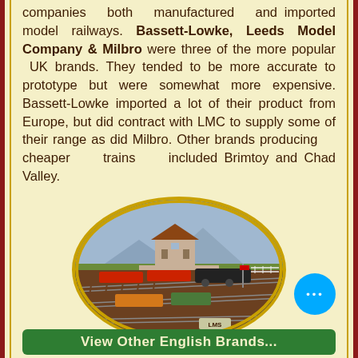companies both manufactured and imported model railways. Bassett-Lowke, Leeds Model Company & Milbro were three of the more popular UK brands. They tended to be more accurate to prototype but were somewhat more expensive. Bassett-Lowke imported a lot of their product from Europe, but did contract with LMC to supply some of their range as did Milbro. Other brands producing cheaper trains included Brimtoy and Chad Valley.
[Figure (photo): Oval-framed aerial photograph of a detailed model railway layout showing trains, station buildings, tracks, and scenery.]
GALLERY SECTION
View Other English Brands...